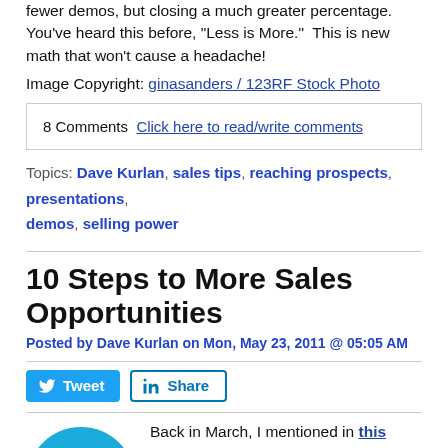fewer demos, but closing a much greater percentage. You've heard this before, "Less is More." This is new math that won't cause a headache!
Image Copyright: ginasanders / 123RF Stock Photo
8 Comments  Click here to read/write comments
Topics: Dave Kurlan, sales tips, reaching prospects, presentations, demos, selling power
10 Steps to More Sales Opportunities
Posted by Dave Kurlan on Mon, May 23, 2011 @ 05:05 AM
[Figure (infographic): Tweet and LinkedIn Share buttons]
[Figure (photo): Blue circular avatar/profile image]
Back in March, I mentioned in this article that it takes, on